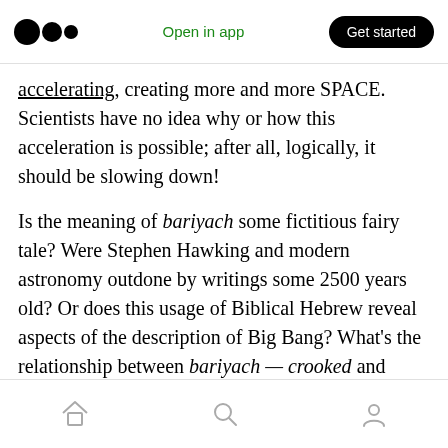Medium app header — Open in app | Get started
accelerating, creating more and more SPACE. Scientists have no idea why or how this acceleration is possible; after all, logically, it should be slowing down!

Is the meaning of bariyach some fictitious fairy tale? Were Stephen Hawking and modern astronomy outdone by writings some 2500 years old? Or does this usage of Biblical Hebrew reveal aspects of the description of Big Bang? What's the relationship between bariyach — crooked and serpent, the last word in Job 26.13?
Bottom navigation bar with home, search, and profile icons